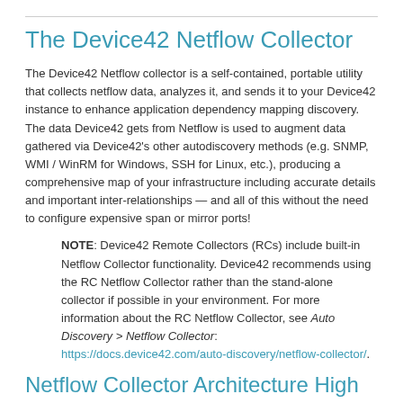The Device42 Netflow Collector
The Device42 Netflow collector is a self-contained, portable utility that collects netflow data, analyzes it, and sends it to your Device42 instance to enhance application dependency mapping discovery. The data Device42 gets from Netflow is used to augment data gathered via Device42's other autodiscovery methods (e.g. SNMP, WMI / WinRM for Windows, SSH for Linux, etc.), producing a comprehensive map of your infrastructure including accurate details and important inter-relationships — and all of this without the need to configure expensive span or mirror ports!
NOTE: Device42 Remote Collectors (RCs) include built-in Netflow Collector functionality. Device42 recommends using the RC Netflow Collector rather than the stand-alone collector if possible in your environment. For more information about the RC Netflow Collector, see Auto Discovery > Netflow Collector: https://docs.device42.com/auto-discovery/netflow-collector/.
Netflow Collector Architecture High Level Overview: